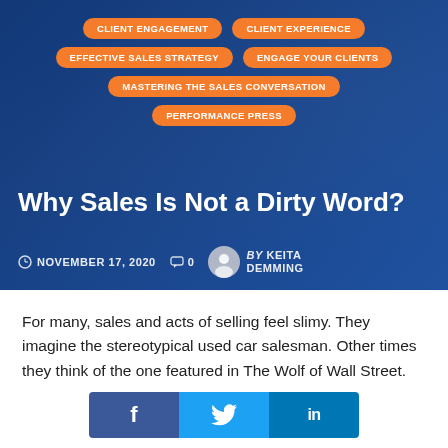[Figure (screenshot): Blog post hero image with dark blue overlay and people working in background]
CLIENT ENGAGEMENT
CLIENT EXPERIENCE
EFFECTIVE SALES STRATEGY
ENGAGE YOUR CLIENTS
MASTERING THE SALES CONVERSATION
PERFORMANCE PRESS
Why Sales Is Not a Dirty Word?
NOVEMBER 17, 2020   0   BY KEITA DEMMING
For many, sales and acts of selling feel slimy. They imagine the stereotypical used car salesman. Other times they think of the one featured in The Wolf of Wall Street.